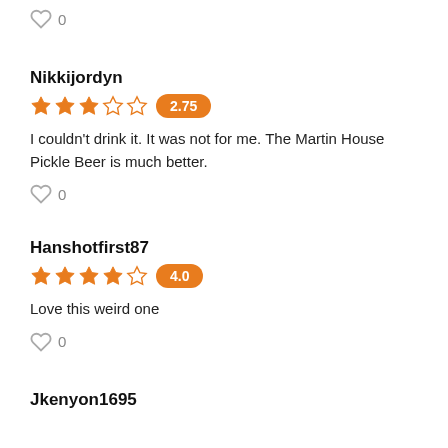♡ 0
Nikkijordyn
★★★☆☆ 2.75
I couldn't drink it. It was not for me. The Martin House Pickle Beer is much better.
♡ 0
Hanshotfirst87
★★★★☆ 4.0
Love this weird one
♡ 0
Jkenyon1695